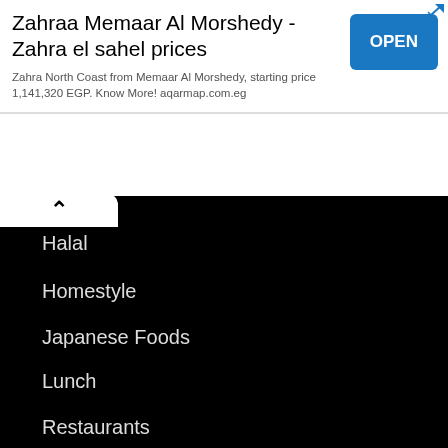[Figure (other): Advertisement banner for Zahraa Memaar Al Morshedy - Zahra el sahel prices with OPEN button]
Zahraa Memaar Al Morshedy - Zahra el sahel prices
Zahra North Coast from Memaar Al Morshedy, starting price 1,141,320 EGP. Know More! aqarmap.com.eg
Halal
Homestyle
Japanese Foods
Lunch
Restaurants
Seafood
Sweet